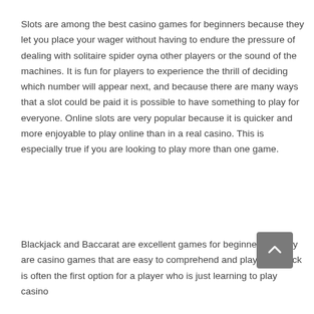Slots are among the best casino games for beginners because they let you place your wager without having to endure the pressure of dealing with solitaire spider oyna other players or the sound of the machines. It is fun for players to experience the thrill of deciding which number will appear next, and because there are many ways that a slot could be paid it is possible to have something to play for everyone. Online slots are very popular because it is quicker and more enjoyable to play online than in a real casino. This is especially true if you are looking to play more than one game.
Blackjack and Baccarat are excellent games for beginners as they are casino games that are easy to comprehend and play. Blackjack is often the first option for a player who is just learning to play casino